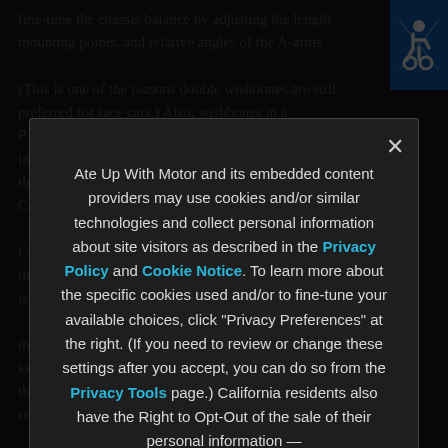fine-tune the chassis balance by adjusting the length, mounting points, and relative angles of the A-arms (This is one of the reasons double wishbones are still preferred for race cars.) Also, wishbones in a pure double wishbone design can bisect a effect called Camber gain. Area tires stretch when they are perpendicular to the road surface — that is, when their camber is zero. A beam axle forces the wheels to maintain a constant camber, which keeps them upright going over bumps, but forces the wheels to lose as the body leans, reducing the tires' cornering power. With double
Ate Up With Motor and its embedded content providers may use cookies and/or similar technologies and collect personal information about site visitors as described in the Privacy Policy and Cookie Notice. To learn more about the specific cookies used and/or to fine-tune your available choices, click "Privacy Preferences" at the right. (If you need to review or change these settings after you accept, you can do so from the Privacy Tools page.) California residents also have the Right to Opt-Out of the sale of their personal information — see the Do Not Sell My Personal Information page.
Privacy Preferences
I Agree